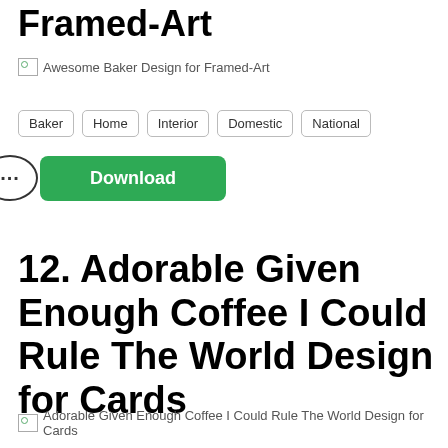Framed-Art
[Figure (photo): Broken image placeholder: Awesome Baker Design for Framed-Art]
Baker
Home
Interior
Domestic
National
... Download
12. Adorable Given Enough Coffee I Could Rule The World Design for Cards
[Figure (photo): Broken image placeholder: Adorable Given Enough Coffee I Could Rule The World Design for Cards]